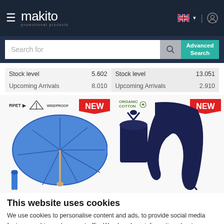[Figure (screenshot): Makito website navigation bar with hamburger menu, makito logo, UK flag language selector, and user account icon]
[Figure (screenshot): Search bar with 'Search for' placeholder, magnifying glass icon, and Advanced Search teal button]
| Stock level | 5.602 | Stock level | 13.051 |
| Upcoming Arrivals | 8.010 | Upcoming Arrivals | 2.910 |
[Figure (photo): Product banner showing a blue foldable umbrella with RPET and windproof labels, a NEW tag, and on the right a navy organic cotton drawstring bag and navy scarf with NEW tag]
This website uses cookies
We use cookies to personalise content and ads, to provide social media features and to analyse our traffic. We also share information about your use of our site with our social media, advertising and analytics partners who may